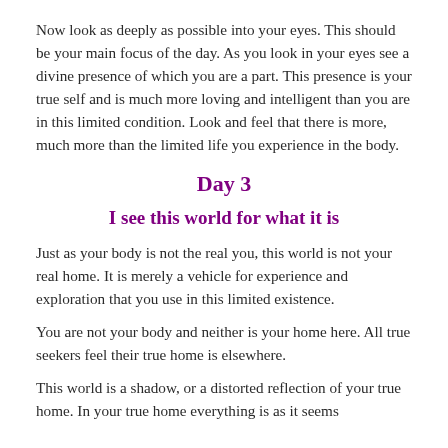Now look as deeply as possible into your eyes. This should be your main focus of the day. As you look in your eyes see a divine presence of which you are a part. This presence is your true self and is much more loving and intelligent than you are in this limited condition. Look and feel that there is more, much more than the limited life you experience in the body.
Day 3
I see this world for what it is
Just as your body is not the real you, this world is not your real home. It is merely a vehicle for experience and exploration that you use in this limited existence.
You are not your body and neither is your home here. All true seekers feel their true home is elsewhere.
This world is a shadow, or a distorted reflection of your true home. In your true home everything is as it seems